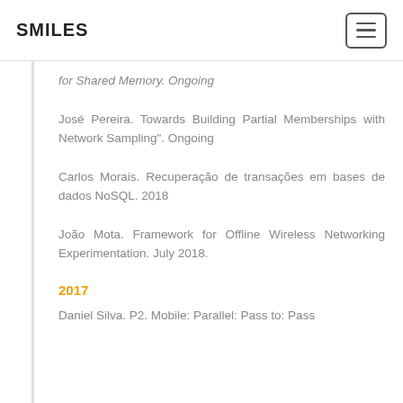SMILES
for Shared Memory. Ongoing
José Pereira. Towards Building Partial Memberships with Network Sampling". Ongoing
Carlos Morais. Recuperação de transações em bases de dados NoSQL. 2018
João Mota. Framework for Offline Wireless Networking Experimentation. July 2018.
2017
Daniel Silva. P2. Mobile: Parallel: Pass to: Pass...